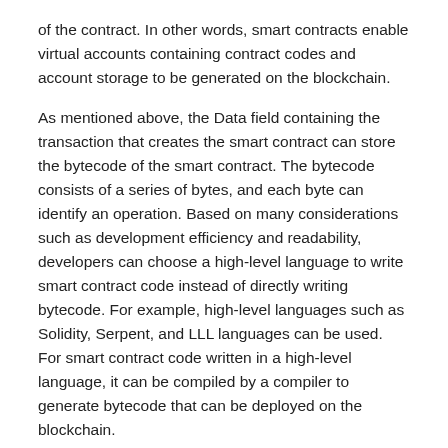of the contract. In other words, smart contracts enable virtual accounts containing contract codes and account storage to be generated on the blockchain.
As mentioned above, the Data field containing the transaction that creates the smart contract can store the bytecode of the smart contract. The bytecode consists of a series of bytes, and each byte can identify an operation. Based on many considerations such as development efficiency and readability, developers can choose a high-level language to write smart contract code instead of directly writing bytecode. For example, high-level languages such as Solidity, Serpent, and LLL languages can be used. For smart contract code written in a high-level language, it can be compiled by a compiler to generate bytecode that can be deployed on the blockchain.
Taking the Solidity language as an example, the contract code written with it is very similar to the class in the object-oriented programming language. A variety of members can be declared in a contract, including state variables, functions, function modifiers, and events. The state variable is a value permanently stored in the account